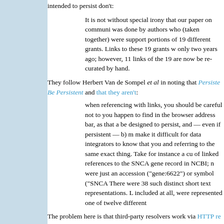intended to persist don't:
It is not without special irony that our paper on communi was done by authors who (taken together) were support portions of 19 different grants. Links to these 19 grants w only two years ago; however, 11 links of the 19 are now be re-curated by hand.
They follow Herbert Van de Sompel et al in noting that Persistent URIs Must Be Persistent and that they aren't:
when referencing with links, you should be careful not to you happen to find in the browser address bar, as that a be designed to persist, and — even if persistent — b) m make it difficult for data integrators to know that you and referring to the same exact thing. Take for instance a cu of linked references to the SNCA gene record in NCBI; n were just an accession ("gene:6622") or symbol ("SNCA There were 38 such distinct short text representations. L included at all, were represented one of twelve different
The problem here is that third-party resolvers work via HTTP re address that shows up in the browser's address bar will never b persistent URI, it will be a URI at the publisher. Because there i any of the publishers variant, non-persistent identifiers to the ca the burden is on authors, reviewers and editors to know what t